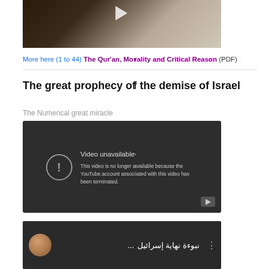[Figure (screenshot): Top portion of a video thumbnail showing a person in a light-colored shirt against a dark background, with a play button overlay]
More here (1 to 44) The Qur'an, Morality and Critical Reason (PDF)
The great prophecy of the demise of Israel
The Numerical great miracle
[Figure (screenshot): YouTube unavailable video screen with dark background showing message: Video unavailable - This video is no longer available because the YouTube account associated with this video has been terminated.]
[Figure (screenshot): Arabic language video thumbnail with a circular avatar of a man and Arabic text reading: نبوءة نهاية إسرائيل]